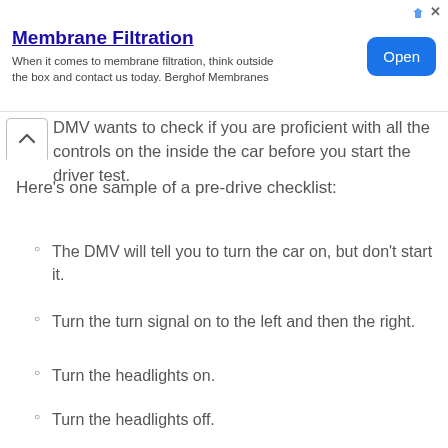[Figure (other): Advertisement banner for Membrane Filtration by Berghof Membranes with an Open button]
DMV wants to check if you are proficient with all the controls on the inside the car before you start the driver test.
Here's one sample of a pre-drive checklist:
The DMV will tell you to turn the car on, but don't start it.
Turn the turn signal on to the left and then the right.
Turn the headlights on.
Turn the headlights off.
Turn the windshield wipers on.